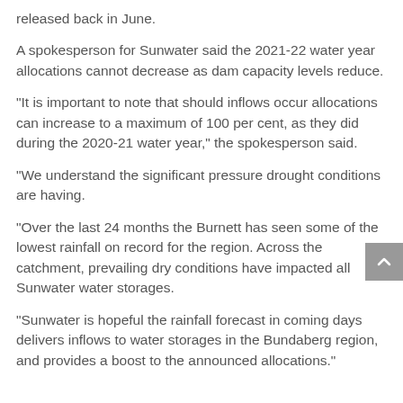released back in June.
A spokesperson for Sunwater said the 2021-22 water year allocations cannot decrease as dam capacity levels reduce.
“It is important to note that should inflows occur allocations can increase to a maximum of 100 per cent, as they did during the 2020-21 water year,” the spokesperson said.
“We understand the significant pressure drought conditions are having.
“Over the last 24 months the Burnett has seen some of the lowest rainfall on record for the region. Across the catchment, prevailing dry conditions have impacted all Sunwater water storages.
“Sunwater is hopeful the rainfall forecast in coming days delivers inflows to water storages in the Bundaberg region, and provides a boost to the announced allocations.”